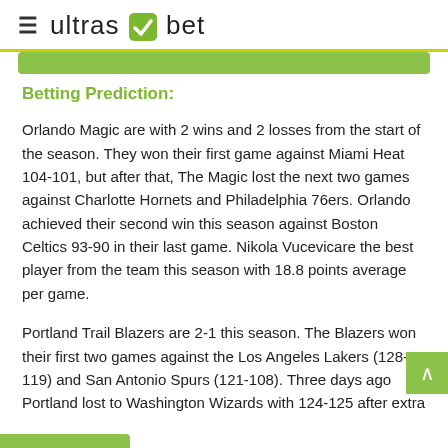≡ ultrasbet
Betting Prediction:
Orlando Magic are with 2 wins and 2 losses from the start of the season. They won their first game against Miami Heat 104-101, but after that, The Magic lost the next two games against Charlotte Hornets and Philadelphia 76ers. Orlando achieved their second win this season against Boston Celtics 93-90 in their last game. Nikola Vucevicare the best player from the team this season with 18.8 points average per game.
Portland Trail Blazers are 2-1 this season. The Blazers won their first two games against the Los Angeles Lakers (128-119) and San Antonio Spurs (121-108). Three days ago Portland lost to Washington Wizards with 124-125 after extra